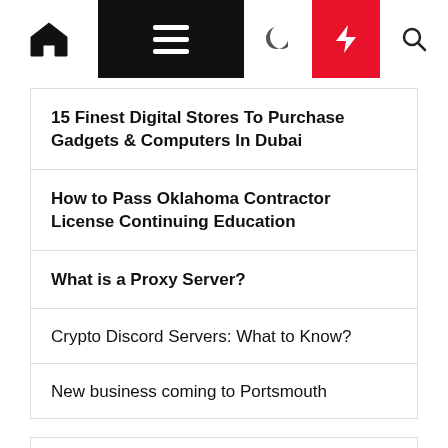Navigation bar with home, menu, dark mode, lightning, and search icons
15 Finest Digital Stores To Purchase Gadgets & Computers In Dubai
How to Pass Oklahoma Contractor License Continuing Education
What is a Proxy Server?
Crypto Discord Servers: What to Know?
New business coming to Portsmouth
Categories
Business Express